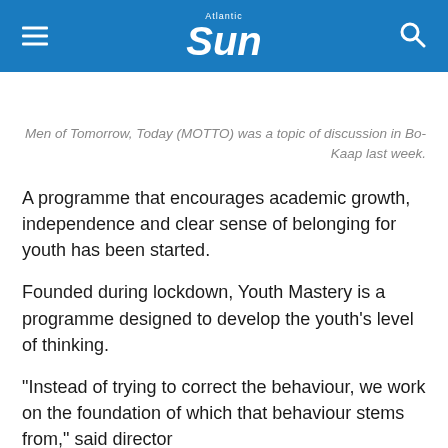Atlantic Sun
Men of Tomorrow, Today (MOTTO) was a topic of discussion in Bo-Kaap last week.
A programme that encourages academic growth, independence and clear sense of belonging for youth has been started.
Founded during lockdown, Youth Mastery is a programme designed to develop the youth's level of thinking.
“Instead of trying to correct the behaviour, we work on the foundation of which that behaviour stems from,” said director